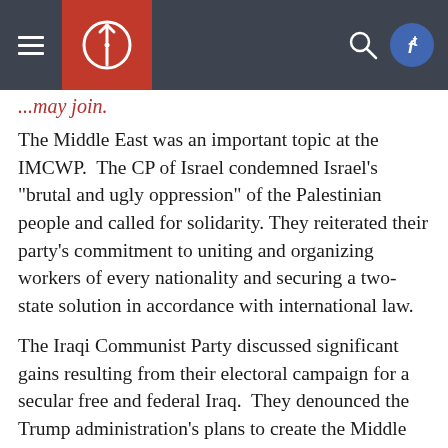[Navigation bar with hamburger menu, logo, search icon, and social icons]
...may join.
The Middle East was an important topic at the IMCWP.  The CP of Israel condemned Israel's "brutal and ugly oppression" of the Palestinian people and called for solidarity. They reiterated their party's commitment to uniting and organizing workers of every nationality and securing a two-state solution in accordance with international law.
The Iraqi Communist Party discussed significant gains resulting from their electoral campaign for a secular free and federal Iraq. They denounced the Trump administration's plans to create the Middle East Strategic Alliance (MESA), a so-called "Arab NATO." MESA would be a new military and political